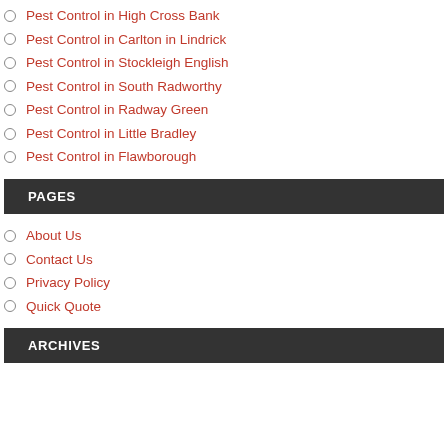Pest Control in High Cross Bank
Pest Control in Carlton in Lindrick
Pest Control in Stockleigh English
Pest Control in South Radworthy
Pest Control in Radway Green
Pest Control in Little Bradley
Pest Control in Flawborough
PAGES
About Us
Contact Us
Privacy Policy
Quick Quote
ARCHIVES